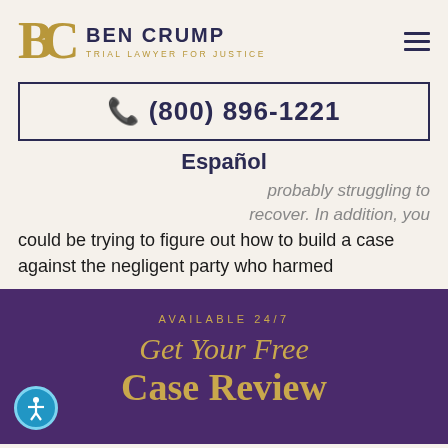[Figure (logo): Ben Crump Trial Lawyer for Justice logo with BC monogram in gold and firm name in dark navy]
☎ (800) 896-1221
Español
probably struggling to recover. In addition, you could be trying to figure out how to build a case against the negligent party who harmed
AVAILABLE 24/7
Get Your Free Case Review